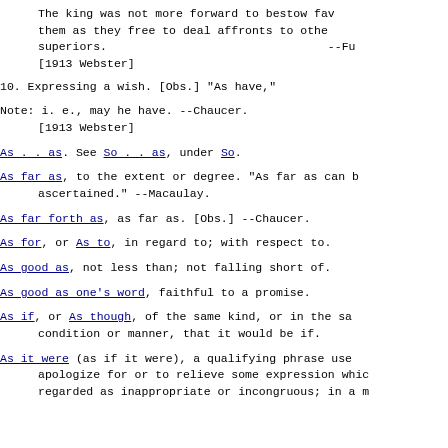The king was not more forward to bestow fav- them as they free to deal affronts to other superiors.                         --Fu [1913 Webster]
10. Expressing a wish. [Obs.] "As have,"
Note: i. e., may he have. --Chaucer.
         [1913 Webster]
As . . as. See So . . as, under So.
As far as, to the extent or degree. "As far as can b ascertained." --Macaulay.
As far forth as, as far as. [Obs.] --Chaucer.
As for, or As to, in regard to; with respect to.
As good as, not less than; not falling short of.
As good as one's word, faithful to a promise.
As if, or As though, of the same kind, or in the sar condition or manner, that it would be if.
As it were (as if it were), a qualifying phrase use apologize for or to relieve some expression whic regarded as inappropriate or incongruous; in a m